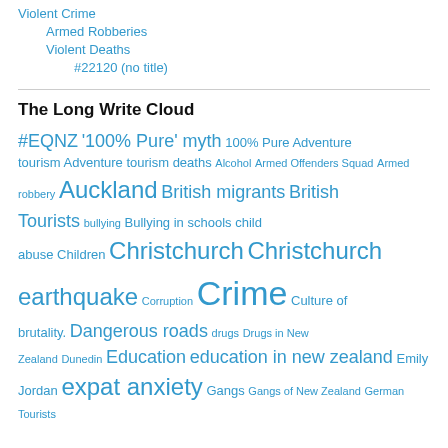Violent Crime
Armed Robberies
Violent Deaths
#22120 (no title)
The Long Write Cloud
#EQNZ '100% Pure' myth 100% Pure Adventure tourism Adventure tourism deaths Alcohol Armed Offenders Squad Armed robbery Auckland British migrants British Tourists bullying Bullying in schools child abuse Children Christchurch Christchurch earthquake Corruption Crime Culture of brutality. Dangerous roads drugs Drugs in New Zealand Dunedin Education education in new zealand Emily Jordan expat anxiety Gangs Gangs of New Zealand German Tourists